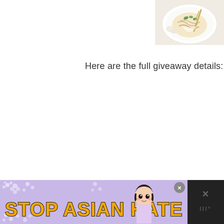[Figure (photo): Partial view of a food dish on a plate with garnish, shown in upper right corner of the page]
Here are the full giveaway details:
[Figure (infographic): Advertisement banner reading 'STOP ASIAN HATE' with purple background, white flower decorations, an anime-style female character, and a close button (x). A dark side panel with an X icon is also visible.]